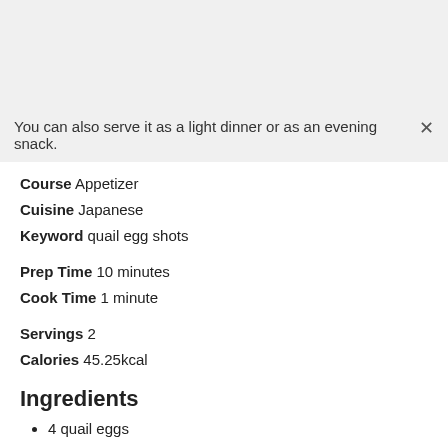You can also serve it as a light dinner or as an evening snack.
Course  Appetizer
Cuisine  Japanese
Keyword  quail egg shots
Prep Time  10 minutes
Cook Time  1 minute
Servings  2
Calories  45.25kcal
Ingredients
4 quail eggs
1 tbsp bacon cubes fried
1 tsp chives or spring onions or simply, chopped onion
salt